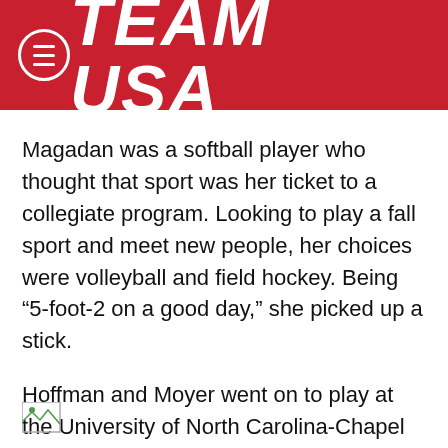TEAM USA
Magadan was a softball player who thought that sport was her ticket to a collegiate program. Looking to play a fall sport and meet new people, her choices were volleyball and field hockey. Being “5-foot-2 on a good day,” she picked up a stick.
Hoffman and Moyer went on to play at the University of North Carolina-Chapel Hill, a field hockey powerhouse under coach Karen Shelton, whose players have been mainstays of Team USA.
[Figure (other): Broken/missing image placeholder icon in bottom-left corner]